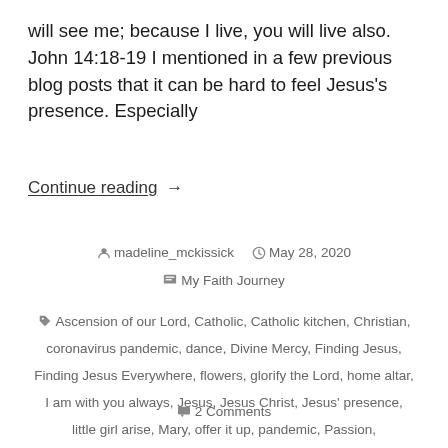will see me; because I live, you will live also. John 14:18-19 I mentioned in a few previous blog posts that it can be hard to feel Jesus's presence. Especially
Continue reading  →
madeline_mckissick   May 28, 2020
My Faith Journey
Ascension of our Lord, Catholic, Catholic kitchen, Christian, coronavirus pandemic, dance, Divine Mercy, Finding Jesus, Finding Jesus Everywhere, flowers, glorify the Lord, home altar, I am with you always, Jesus, Jesus Christ, Jesus' presence, little girl arise, Mary, offer it up, pandemic, Passion, praise the Lord with dance, prayer, prayer cards, put God first, recognize blessings, talitha koum
2 Comments